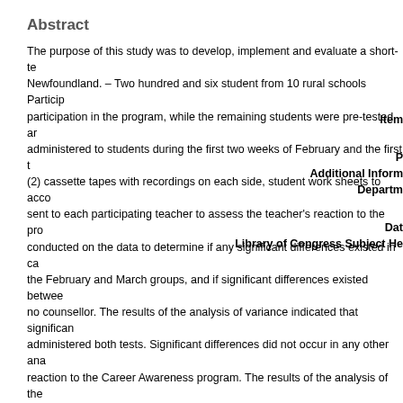Abstract
The purpose of this study was to develop, implement and evaluate a short-te... Newfoundland. – Two hundred and six student from 10 rural schools Particip... participation in the program, while the remaining students were pre-tested ar... administered to students during the first two weeks of February and the first t... (2) cassette tapes with recordings on each side, student work sheets to acco... sent to each participating teacher to assess the teacher's reaction to the pro... conducted on the data to determine if any significant differences existed in ca... the February and March groups, and if significant differences existed betwee... no counsellor. The results of the analysis of variance indicated that significan... administered both tests. Significant differences did not occur in any other ana... reaction to the Career Awareness program. The results of the analysis of the... the audio and visual portions. The results revealed that the teachers felt thei... indicated a willingness to use the program again. – The conclusion was that ... as measured by the CMI; however, teachers assessed the program as being
Item
P
Additional Inform
Departm
Dat
Library of Congress Subject He